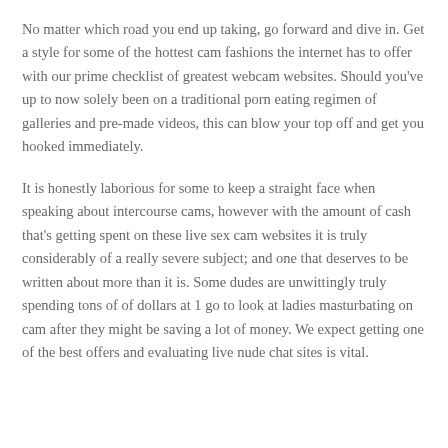No matter which road you end up taking, go forward and dive in. Get a style for some of the hottest cam fashions the internet has to offer with our prime checklist of greatest webcam websites. Should you've up to now solely been on a traditional porn eating regimen of galleries and pre-made videos, this can blow your top off and get you hooked immediately.
It is honestly laborious for some to keep a straight face when speaking about intercourse cams, however with the amount of cash that's getting spent on these live sex cam websites it is truly considerably of a really severe subject; and one that deserves to be written about more than it is. Some dudes are unwittingly truly spending tons of of dollars at 1 go to look at ladies masturbating on cam after they might be saving a lot of money. We expect getting one of the best offers and evaluating live nude chat sites is vital.